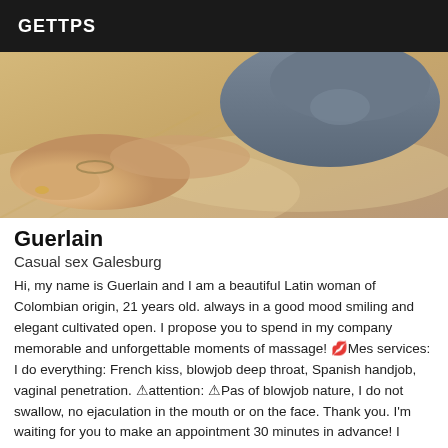GETTPS
[Figure (photo): Partial view of a person lying on a bed, showing hands and lower body in jeans on light-colored bedding]
Guerlain
Casual sex Galesburg
Hi, my name is Guerlain and I am a beautiful Latin woman of Colombian origin, 21 years old. always in a good mood smiling and elegant cultivated open. I propose you to spend in my company memorable and unforgettable moments of massage! 💋Mes services: I do everything: French kiss, blowjob deep throat, Spanish handjob, vaginal penetration. ⚠attention: ⚠Pas of blowjob nature, I do not swallow, no ejaculation in the mouth or on the face. Thank you. I'm waiting for you to make an appointment 30 minutes in advance! I invite